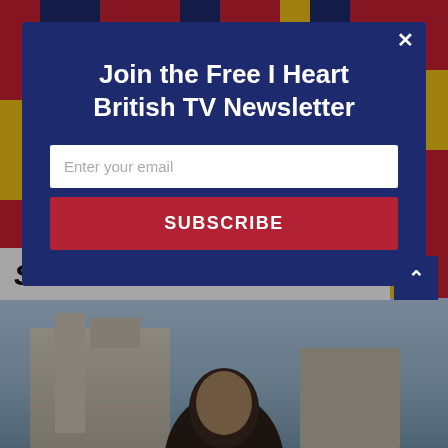[Figure (screenshot): Colorful British-themed decorative background with red, blue, and yellow patterns including London icons]
Join the Free I Heart British TV Newsletter
Enter your email
SUBSCRIBE
Silent Witness?
[Figure (photo): Person with dark hair photographed outdoors in front of a building with blue sky background]